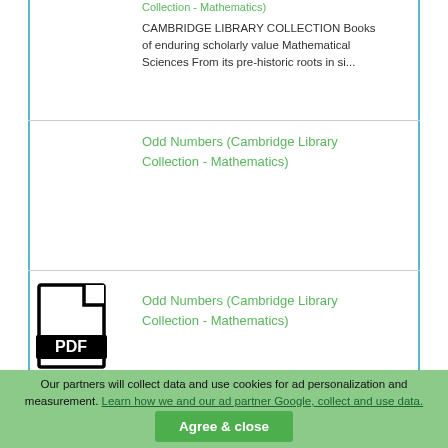Collection - Mathematics)
CAMBRIDGE LIBRARY COLLECTION Books of enduring scholarly value Mathematical Sciences From its pre-historic roots in si...
Odd Numbers (Cambridge Library Collection - Mathematics)
[Figure (illustration): PDF file icon with bold text 'PDF' in the center]
Odd Numbers (Cambridge Library Collection - Mathematics)
Our partners will collect data and use cookies for ad personalization and measurement. Learn how we and our ad partner Google, collect and use data.
Agree & close